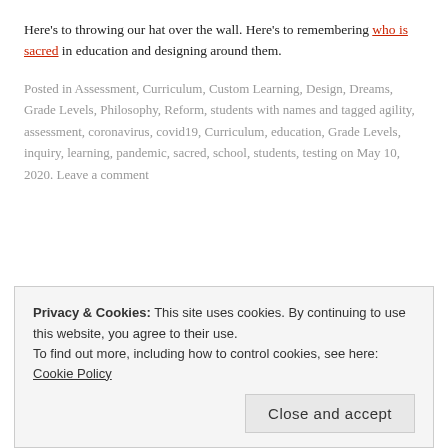Here's to throwing our hat over the wall. Here's to remembering who is sacred in education and designing around them.
Posted in Assessment, Curriculum, Custom Learning, Design, Dreams, Grade Levels, Philosophy, Reform, students with names and tagged agility, assessment, coronavirus, covid19, Curriculum, education, Grade Levels, inquiry, learning, pandemic, sacred, school, students, testing on May 10, 2020. Leave a comment
DO YOU WANT TO FORM
Privacy & Cookies: This site uses cookies. By continuing to use this website, you agree to their use. To find out more, including how to control cookies, see here: Cookie Policy
Close and accept